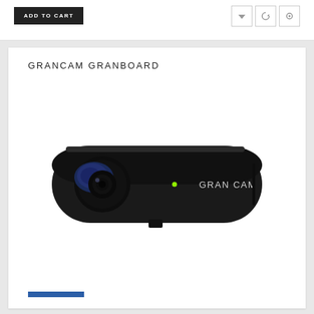ADD TO CART
GRANCAM GRANBOARD
[Figure (photo): A compact black webcam device labeled 'GRAN CAM' with a lens on the left side and a small green LED indicator]